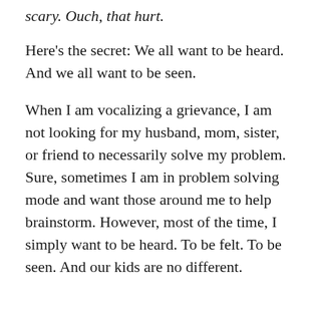scary. Ouch, that hurt.
Here's the secret: We all want to be heard. And we all want to be seen.
When I am vocalizing a grievance, I am not looking for my husband, mom, sister, or friend to necessarily solve my problem. Sure, sometimes I am in problem solving mode and want those around me to help brainstorm. However, most of the time, I simply want to be heard. To be felt. To be seen. And our kids are no different.